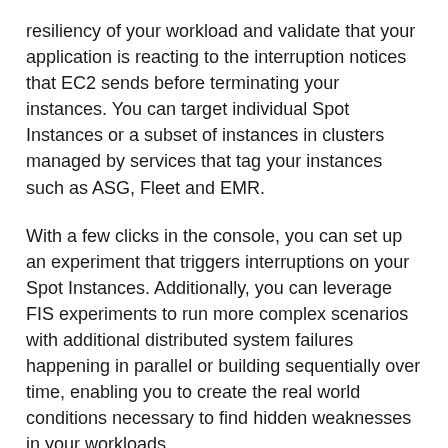resiliency of your workload and validate that your application is reacting to the interruption notices that EC2 sends before terminating your instances. You can target individual Spot Instances or a subset of instances in clusters managed by services that tag your instances such as ASG, Fleet and EMR.
With a few clicks in the console, you can set up an experiment that triggers interruptions on your Spot Instances. Additionally, you can leverage FIS experiments to run more complex scenarios with additional distributed system failures happening in parallel or building sequentially over time, enabling you to create the real world conditions necessary to find hidden weaknesses in your workloads.
FIS is available in all of the commercial AWS Regions today except Asia Pacific (Osaka) and the two China regions.
To learn more about Spot Instances visit Amazon EC2 Spot Instances page.